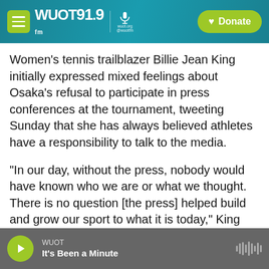WUOT 91.9 FM | wuot.org @wuotfm | Donate
Women's tennis trailblazer Billie Jean King initially expressed mixed feelings about Osaka's refusal to participate in press conferences at the tournament, tweeting Sunday that she has always believed athletes have a responsibility to talk to the media.
"In our day, without the press, nobody would have known who we are or what we thought. There is no question [the press] helped build and grow our sport to what it is today," King wrote.
But after Osaka told the world she had been going through mentally, King's reaction shifted.
WUOT | It's Been a Minute